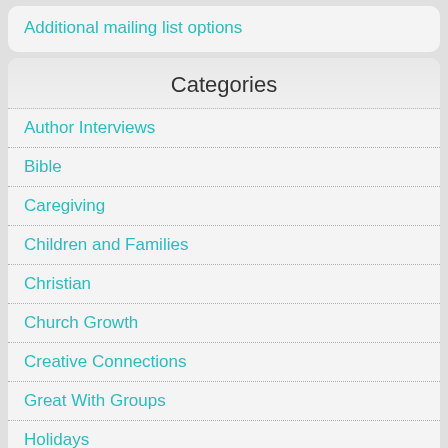Additional mailing list options
Categories
Author Interviews
Bible
Caregiving
Children and Families
Christian
Church Growth
Creative Connections
Great With Groups
Holidays
Jewish
Movies and TV
Muslim
Natural World
Peacemaking
Uncategorized